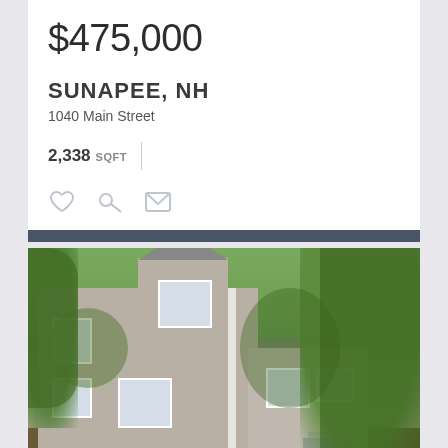$475,000
SUNAPEE, NH
1040 Main Street
2,338 SQFT
[Figure (photo): Exterior photo of a two-story house with gray/beige shingle siding, dormer windows, and surrounded by large leafy trees. The house has multiple wings and an entrance with steps.]